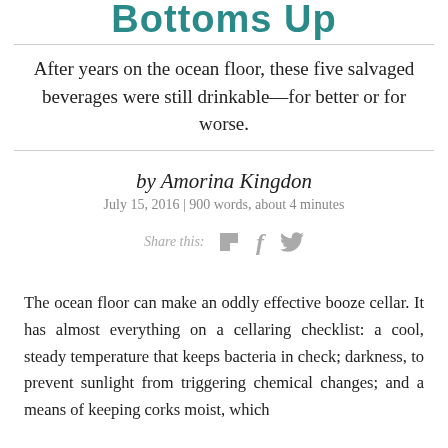Bottoms Up
After years on the ocean floor, these five salvaged beverages were still drinkable—for better or for worse.
by Amorina Kingdon
July 15, 2016 | 900 words, about 4 minutes
Share this:
The ocean floor can make an oddly effective booze cellar. It has almost everything on a cellaring checklist: a cool, steady temperature that keeps bacteria in check; darkness, to prevent sunlight from triggering chemical changes; and a means of keeping corks moist, which